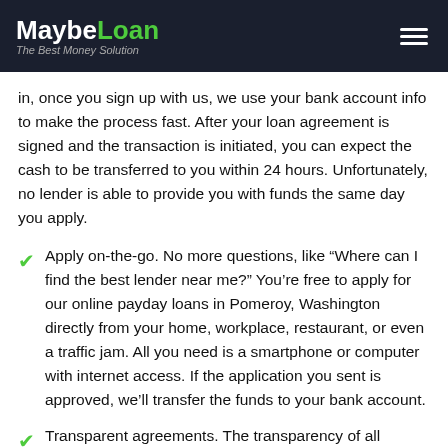MaybeLoan – The Best Money Solution
in, once you sign up with us, we use your bank account info to make the process fast. After your loan agreement is signed and the transaction is initiated, you can expect the cash to be transferred to you within 24 hours. Unfortunately, no lender is able to provide you with funds the same day you apply.
Apply on-the-go. No more questions, like “Where can I find the best lender near me?” You’re free to apply for our online payday loans in Pomeroy, Washington directly from your home, workplace, restaurant, or even a traffic jam. All you need is a smartphone or computer with internet access. If the application you sent is approved, we’ll transfer the funds to your bank account.
Transparent agreements. The transparency of all